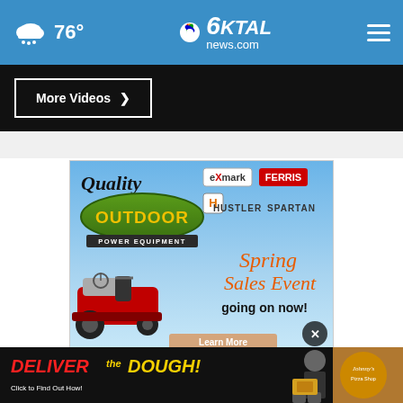76° KTAL news.com
More Videos ▶
[Figure (infographic): Quality Outdoor Power Equipment advertisement - Spring Sales Event going on now! Features brands: eXmark, FERRIS, HUSTLER, SPARTAN. Shows a red riding mower. Text: Spring Sales Event going on now! Learn More button visible.]
[Figure (infographic): DELIVER the DOUGH! - Click to Find Out How! Johnny's pizza delivery advertisement banner with person in uniform holding pizza boxes and Johnny's logo.]